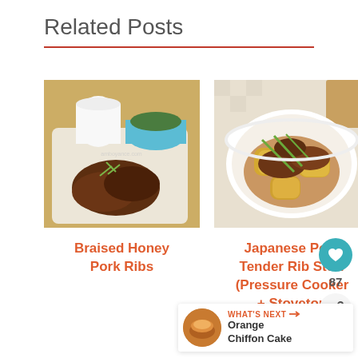Related Posts
[Figure (photo): Braised honey pork ribs on a white plate with green garnish, white pitcher and blue bowl of greens in background]
[Figure (photo): Japanese pork tender rib stew in a white bowl with potatoes and green onion garnish on checkered cloth]
Braised Honey Pork Ribs
Japanese Pork Tender Rib Stew (Pressure Cooker + Stovetop Video)